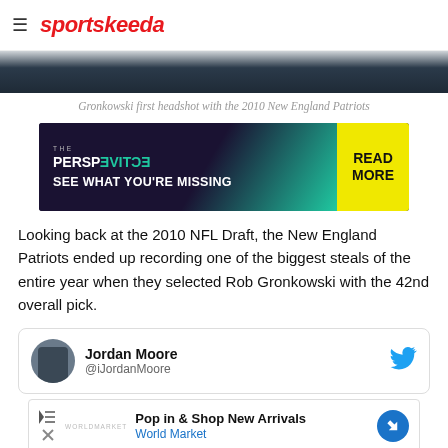sportskeeda
[Figure (photo): Hero image strip showing a dark background, partial view of a person]
Gronkowski first headshot with the 2010 New England Patriots
[Figure (screenshot): Advertisement banner: THE PERSPECTIVE - SEE WHAT YOU'RE MISSING - READ MORE]
Looking back at the 2010 NFL Draft, the New England Patriots ended up recording one of the biggest steals of the entire year when they selected Rob Gronkowski with the 42nd overall pick.
[Figure (screenshot): Twitter/X embed card showing Jordan Moore @iJordanMoore with Twitter bird icon]
[Figure (screenshot): Advertisement: Pop in & Shop New Arrivals - World Market]